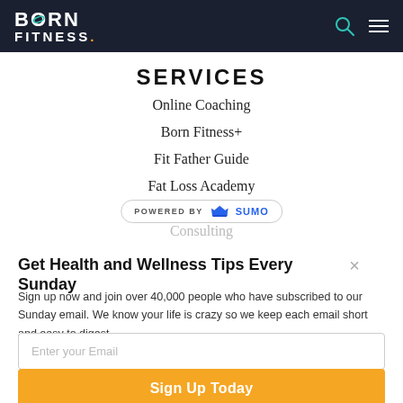Born Fitness — navigation header with logo, search icon, and menu icon
SERVICES
Online Coaching
Born Fitness+
Fit Father Guide
Fat Loss Academy
[Figure (logo): POWERED BY SUMO badge with crown icon]
Consulting
Get Health and Wellness Tips Every Sunday
Sign up now and join over 40,000 people who have subscribed to our Sunday email. We know your life is crazy so we keep each email short and easy to digest.
Enter your Email
Sign Up Today